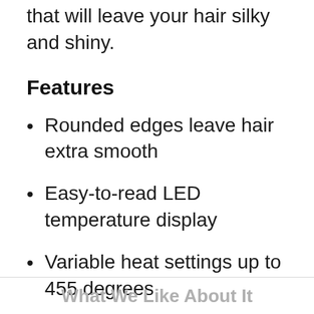that will leave your hair silky and shiny.
Features
Rounded edges leave hair extra smooth
Easy-to-read LED temperature display
Variable heat settings up to 455 degrees
What We Like About It